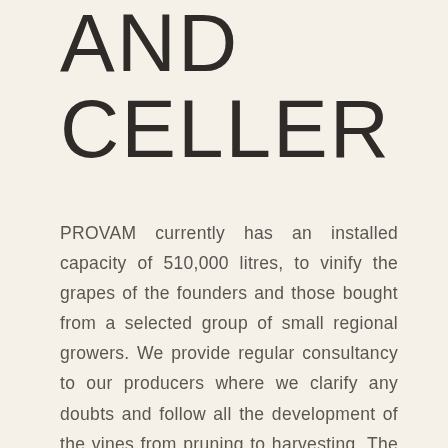AND CELLER
PROVAM currently has an installed capacity of 510,000 litres, to vinify the grapes of the founders and those bought from a selected group of small regional growers. We provide regular consultancy to our producers where we clarify any doubts and follow all the development of the vines from pruning to harvesting. The vines were selected for their